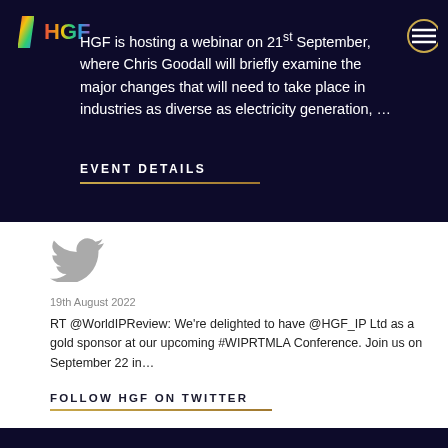[Figure (logo): HGF rainbow diagonal slash logo with coloured text]
HGF is hosting a webinar on 21st September, where Chris Goodall will briefly examine the major changes that will need to take place in industries as diverse as electricity generation, …
EVENT DETAILS
[Figure (logo): Twitter bird icon in grey]
19th August 2022
RT @WorldIPReview: We're delighted to have @HGF_IP Ltd as a gold sponsor at our upcoming #WIPRTMLA Conference. Join us on September 22 in…
FOLLOW HGF ON TWITTER